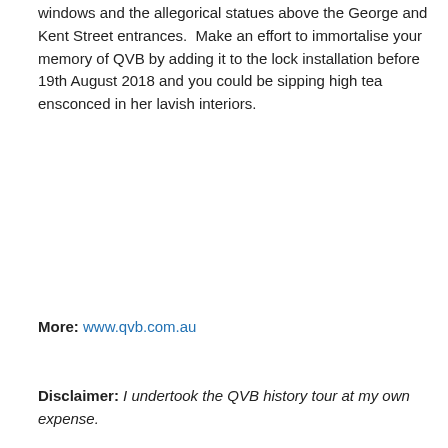windows and the allegorical statues above the George and Kent Street entrances.  Make an effort to immortalise your memory of QVB by adding it to the lock installation before 19th August 2018 and you could be sipping high tea ensconced in her lavish interiors.
More: www.qvb.com.au
Disclaimer: I undertook the QVB history tour at my own expense.
August 7, 2018   2 Replies
Postcard of the week – Hawkesbury
[Figure (photo): Bottom portion of an image, partially visible at the bottom of the page]